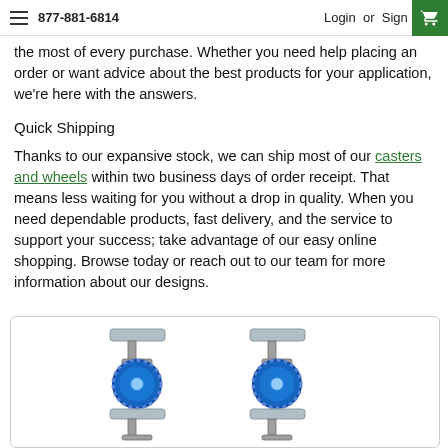877-881-6814   Login or Sign Up
the most of every purchase. Whether you need help placing an order or want advice about the best products for your application, we're here with the answers.
Quick Shipping
Thanks to our expansive stock, we can ship most of our casters and wheels within two business days of order receipt. That means less waiting for you without a drop in quality. When you need dependable products, fast delivery, and the service to support your success; take advantage of our easy online shopping. Browse today or reach out to our team for more information about our designs.
[Figure (photo): Four blue rubber caster wheels with silver metal frames arranged in a 2x2 grid]